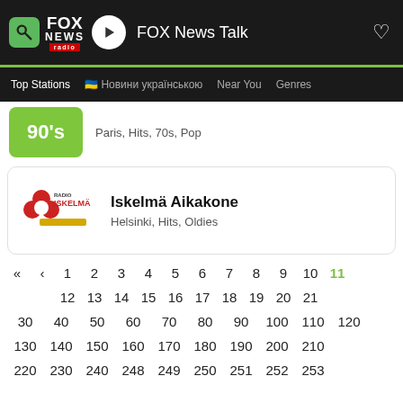FOX News Talk — playing station header bar
Paris, Hits, 70s, Pop
Iskelmä Aikakone
Helsinki, Hits, Oldies
« < 1 2 3 4 5 6 7 8 9 10 11
12 13 14 15 16 17 18 19 20 21
30 40 50 60 70 80 90 100 110 120
130 140 150 160 170 180 190 200 210
220 230 240 248 249 250 251 252 253